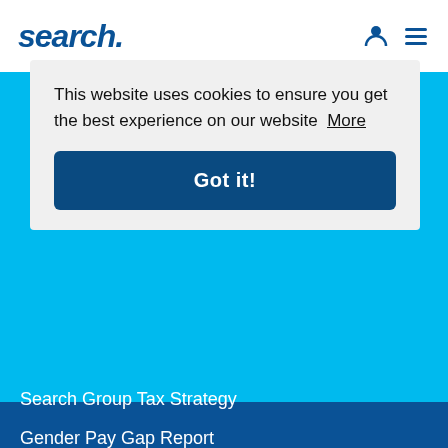search
This website uses cookies to ensure you get the best experience on our website  More
Got it!
Search Group Tax Strategy
Gender Pay Gap Report
Retention Schedule
Privacy Notice
Cookies
Terms & Conditions
Modern Slavery Statement
Candidate